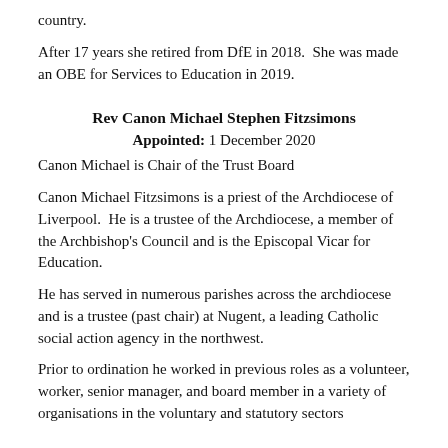country.
After 17 years she retired from DfE in 2018.  She was made an OBE for Services to Education in 2019.
Rev Canon Michael Stephen Fitzsimons
Appointed: 1 December 2020
Canon Michael is Chair of the Trust Board
Canon Michael Fitzsimons is a priest of the Archdiocese of Liverpool.  He is a trustee of the Archdiocese, a member of the Archbishop's Council and is the Episcopal Vicar for Education.
He has served in numerous parishes across the archdiocese and is a trustee (past chair) at Nugent, a leading Catholic social action agency in the northwest.
Prior to ordination he worked in previous roles as a volunteer, worker, senior manager, and board member in a variety of organisations in the voluntary and statutory sectors